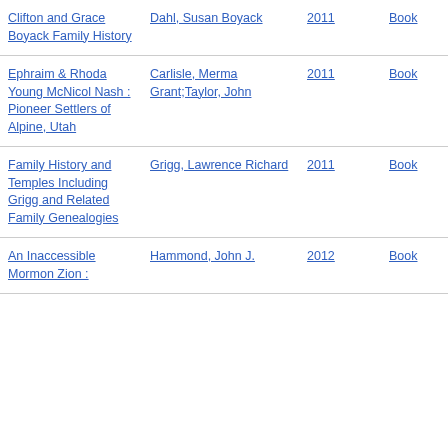| Clifton and Grace Boyack Family History | Dahl, Susan Boyack | 2011 | Book |
| Ephraim & Rhoda Young McNicol Nash : Pioneer Settlers of Alpine, Utah | Carlisle, Merma Grant;Taylor, John | 2011 | Book |
| Family History and Temples Including Grigg and Related Family Genealogies | Grigg, Lawrence Richard | 2011 | Book |
| An Inaccessible Mormon Zion : | Hammond, John J. | 2012 | Book |